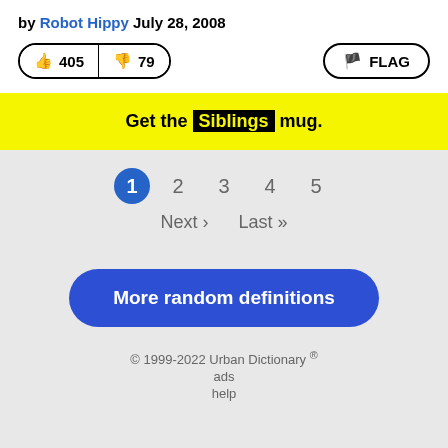by Robot Hippy July 28, 2008
👍 405  👎 79  FLAG
Get the Siblings mug.
1 2 3 4 5
Next › Last »
More random definitions
© 1999-2022 Urban Dictionary ® ads help